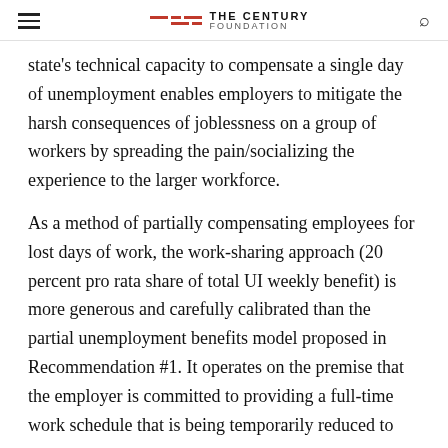THE CENTURY FOUNDATION
state's technical capacity to compensate a single day of unemployment enables employers to mitigate the harsh consequences of joblessness on a group of workers by spreading the pain/socializing the experience to the larger workforce.
As a method of partially compensating employees for lost days of work, the work-sharing approach (20 percent pro rata share of total UI weekly benefit) is more generous and carefully calibrated than the partial unemployment benefits model proposed in Recommendation #1. It operates on the premise that the employer is committed to providing a full-time work schedule that is being temporarily reduced to